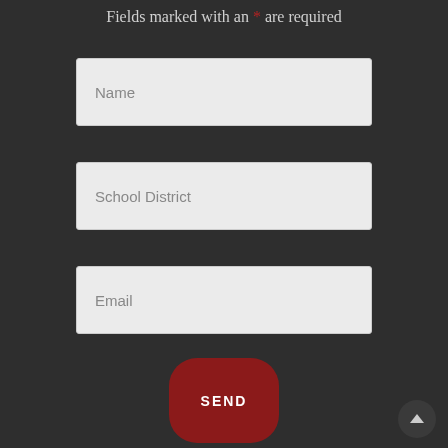Fields marked with an * are required
Name
School District
Email
SEND